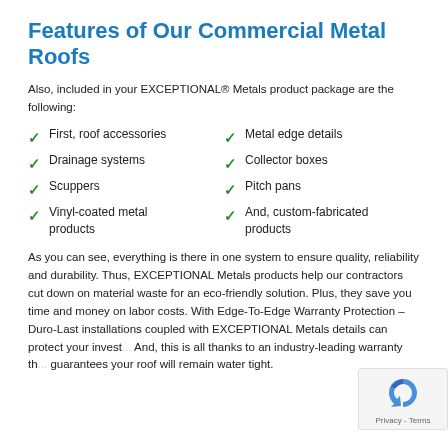Features of Our Commercial Metal Roofs
Also, included in your EXCEPTIONAL® Metals product package are the following:
First, roof accessories
Metal edge details
Drainage systems
Collector boxes
Scuppers
Pitch pans
Vinyl-coated metal products
And, custom-fabricated products
As you can see, everything is there in one system to ensure quality, reliability and durability. Thus, EXCEPTIONAL Metals products help our contractors cut down on material waste for an eco-friendly solution. Plus, they save you time and money on labor costs. With Edge-To-Edge Warranty Protection – Duro-Last installations coupled with EXCEPTIONAL Metals details can protect your invest... And, this is all thanks to an industry-leading warranty th... guarantees your roof will remain water tight.